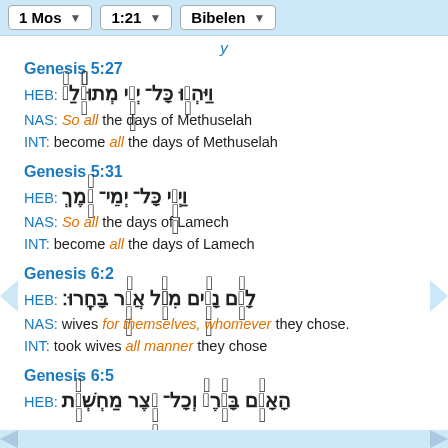1 Mos | 1:21 | Bibelen
y
Genesis 5:27
HEB: וַיִּהְיוּ כָּל־ יְמֵי מְתוּשֶׁלַח
NAS: So all the days of Methuselah
INT: become all the days of Methuselah
Genesis 5:31
HEB: וַיְהִי כָּל־ יְמֵי־ לֶמֶךְ
NAS: So all the days of Lamech
INT: become all the days of Lamech
Genesis 6:2
HEB: לָהֶם נָשִׁים מִכֹּל אֲשֶׁר בָּחָרוּ׃
NAS: wives for themselves, whomever they chose.
INT: took wives all manner they chose
Genesis 6:5
HEB: הָאָדָם בָּאָרֶץ וְכָל־ יֵצֶר מַחְשְׁבֹת